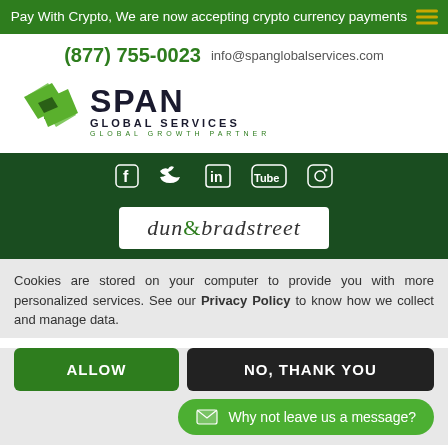Pay With Crypto, We are now accepting crypto currency payments
(877) 755-0023   info@spanglobalservices.com
[Figure (logo): Span Global Services logo with green diamond shapes and company name]
[Figure (illustration): Social media icons bar: Facebook, Twitter, LinkedIn, YouTube, Instagram on dark green background]
[Figure (logo): Dun & Bradstreet badge/logo on white background]
Cookies are stored on your computer to provide you with more personalized services. See our Privacy Policy to know how we collect and manage data.
ALLOW
NO, THANK YOU
Why not leave us a message?